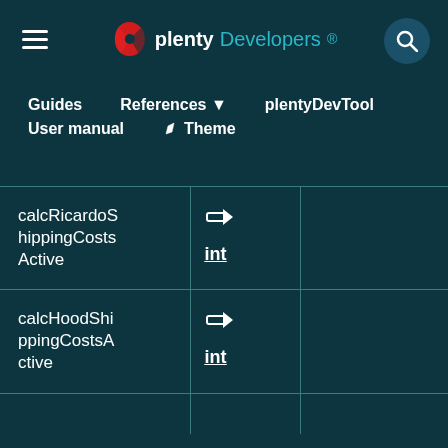plentyDevelopers
Guides | References ▾ | plentyDevTool | User manual | Theme
| Name | Type | Description |
| --- | --- | --- |
| calcRicardoShippingCostsActive | → int |  |
| calcHoodShippingCostsActive | → int |  |